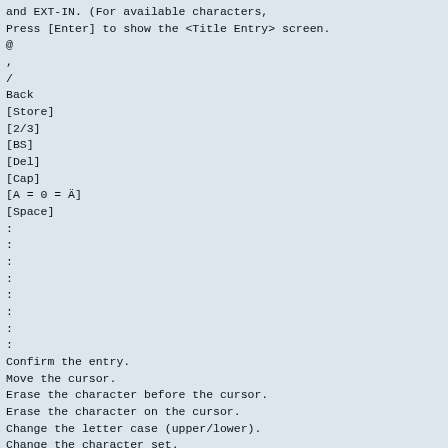and EXT-IN. (For available characters,
Press [Enter] to show the <Title Entry> screen.
@
,
/
Back
[Store]
[2/3]
[BS]
[Del]
[Cap]
[A = 0 = Ä]
[Space]
:
:
:
:
:
:
:
:
Confirm the entry.
Move the cursor.
Erase the character before the cursor.
Erase the character on the cursor.
Change the letter case (upper/lower).
Change the character set.
Enter a space.
*1 For KW-AVX726/KW-AVX725/KW-AVX724.
*2 Not applicable in “iPod MODE.” ( 39)
Downloaded from Caradio-Manual.com Manuals
Continued on the next page
AV MENU
19